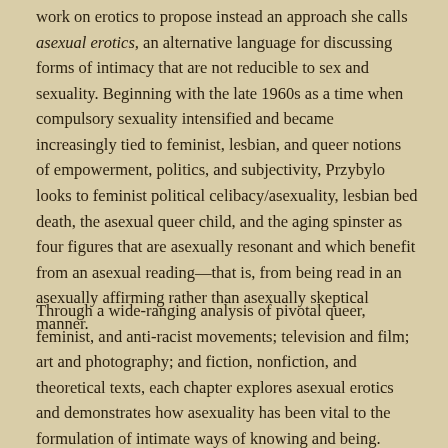work on erotics to propose instead an approach she calls asexual erotics, an alternative language for discussing forms of intimacy that are not reducible to sex and sexuality. Beginning with the late 1960s as a time when compulsory sexuality intensified and became increasingly tied to feminist, lesbian, and queer notions of empowerment, politics, and subjectivity, Przybylo looks to feminist political celibacy/asexuality, lesbian bed death, the asexual queer child, and the aging spinster as four figures that are asexually resonant and which benefit from an asexual reading—that is, from being read in an asexually affirming rather than asexually skeptical manner.
Through a wide-ranging analysis of pivotal queer, feminist, and anti-racist movements; television and film; art and photography; and fiction, nonfiction, and theoretical texts, each chapter explores asexual erotics and demonstrates how asexuality has been vital to the formulation of intimate ways of knowing and being. Asexual Erotics assembles a compendium of asexual possibilities that speaks against the centralization of sex and sexuality, asking that we consider the ways in which compulsory